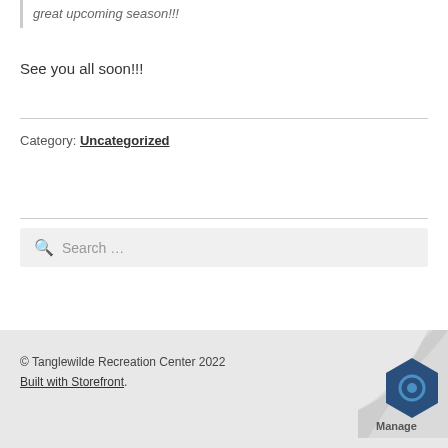great upcoming season!!!
See you all soon!!!
Category: Uncategorized
Search ...
© Tanglewilde Recreation Center 2022
Built with Storefront.